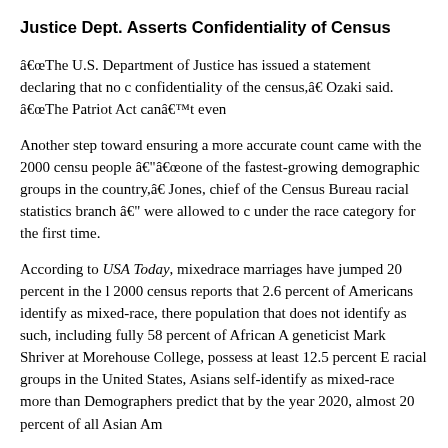Justice Dept. Asserts Confidentiality of Census
"The U.S. Department of Justice has issued a statement declaring that no o... confidentiality of the census," Ozaki said. "The Patriot Act can't even...
Another step toward ensuring a more accurate count came with the 2000 census... people —“one of the fastest-growing demographic groups in the country,”... Jones, chief of the Census Bureau racial statistics branch — were allowed to check under the race category for the first time.
According to USA Today, mixedrace marriages have jumped 20 percent in the last... 2000 census reports that 2.6 percent of Americans identify as mixed-race, there... population that does not identify as such, including fully 58 percent of African A... geneticist Mark Shriver at Morehouse College, possess at least 12.5 percent E... racial groups in the United States, Asians self-identify as mixed-race more than... Demographers predict that by the year 2020, almost 20 percent of all Asian Am...
"Japanese Americans have the highest rates of outmarriage among all Asia... groups," Ozaki adds. "[The modification to the census] ensures we'll...
Some kinks still exist in this system. The census only counts mixedrace househ... completes the form as Person 1.
There has been some debate over what the practical effects of the decision to a... check multiple boxes will be. However, many mixed-race people have expresse...